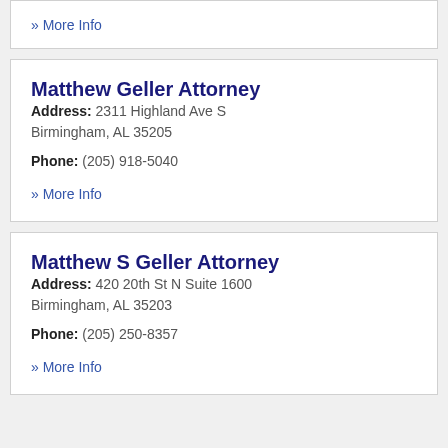» More Info
Matthew Geller Attorney
Address: 2311 Highland Ave S Birmingham, AL 35205
Phone: (205) 918-5040
» More Info
Matthew S Geller Attorney
Address: 420 20th St N Suite 1600 Birmingham, AL 35203
Phone: (205) 250-8357
» More Info